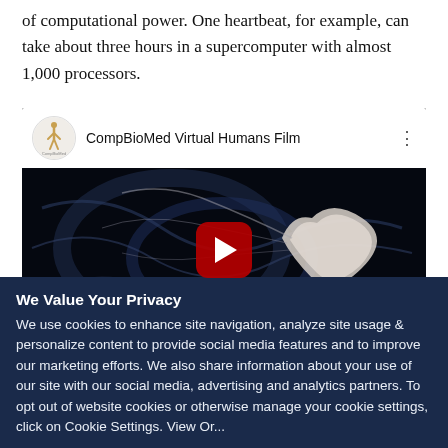of computational power. One heartbeat, for example, can take about three hours in a supercomputer with almost 1,000 processors.
[Figure (screenshot): YouTube video embed showing 'CompBioMed Virtual Humans Film' with a dark thumbnail depicting fluid simulation around a heart, with a red play button in the center. The video header shows the CompBioMed channel logo and title.]
We Value Your Privacy
We use cookies to enhance site navigation, analyze site usage & personalize content to provide social media features and to improve our marketing efforts. We also share information about your use of our site with our social media, advertising and analytics partners. To opt out of website cookies or otherwise manage your cookie settings, click on Cookie Settings. View Or...